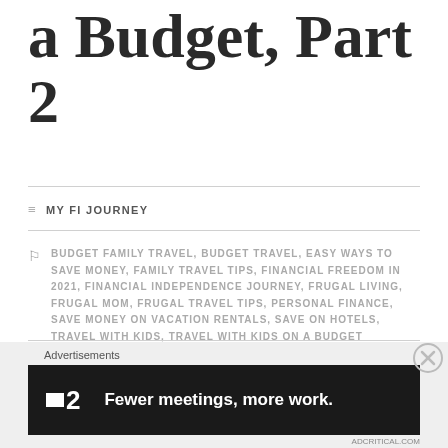Travel Well on a Budget, Part 2
MY FI JOURNEY
BUDGET FAMILY TRAVEL, BUDGET TRAVEL, EASY WAYS TO SAVE MONEY, FAMILY TRAVEL TIPS, FINANCIAL FREEDOM IN 2021, FINANCIAL INDEPENDENCE JOURNEY, FRUGAL LIVING, FRUGAL MOM, FRUGAL TRAVEL TIPS, PERSONAL FINANCE, SAVE MONEY ON VACATION RENTALS, SAVE ON HOTELS, TRAVEL WITH KIDS, TRAVEL WITH KIDS ON A BUDGET
LEAVE A COMMENT
Advertisements
[Figure (other): Advertisement banner for Fewer meetings, more work. showing a dark background with logo and slogan text]